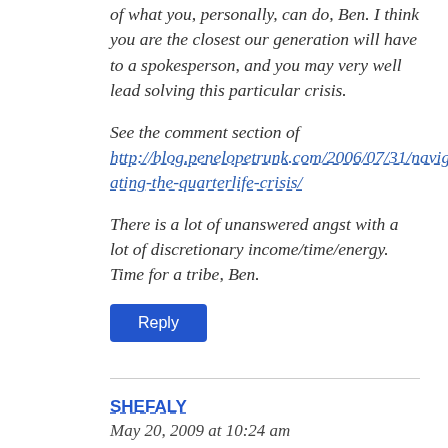of what you, personally, can do, Ben. I think you are the closest our generation will have to a spokesperson, and you may very well lead solving this particular crisis.
See the comment section of http://blog.penelopetrunk.com/2006/07/31/navigating-the-quarterlife-crisis/
There is a lot of unanswered angst with a lot of discretionary income/time/energy. Time for a tribe, Ben.
Reply
SHEFALY
May 20, 2009 at 10:24 am
I love neologisms. Putting a formal label always makes people take things seriously (which is a